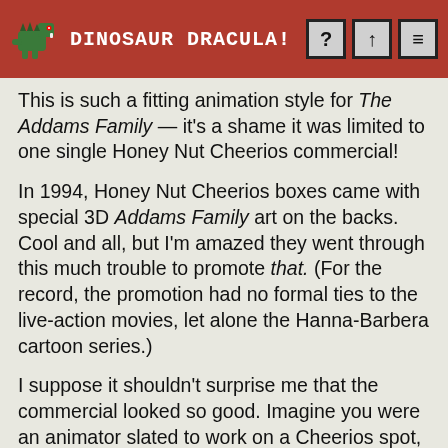DINOSAUR DRACULA!
This is such a fitting animation style for The Addams Family — it's a shame it was limited to one single Honey Nut Cheerios commercial!
In 1994, Honey Nut Cheerios boxes came with special 3D Addams Family art on the backs. Cool and all, but I'm amazed they went through this much trouble to promote that. (For the record, the promotion had no formal ties to the live-action movies, let alone the Hanna-Barbera cartoon series.)
I suppose it shouldn't surprise me that the commercial looked so good. Imagine you were an animator slated to work on a Cheerios spot, and then they told you that you'd get to draw